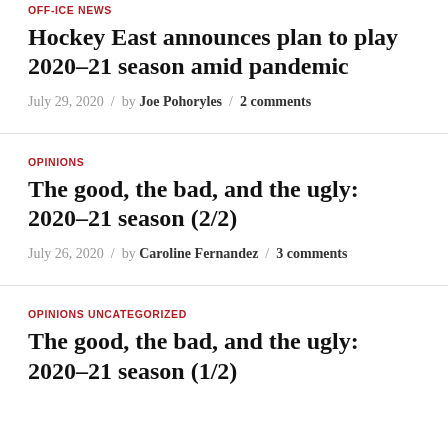OFF-ICE NEWS
Hockey East announces plan to play 2020-21 season amid pandemic
July 29, 2020 / by Joe Pohoryles / 2 comments
OPINIONS
The good, the bad, and the ugly: 2020-21 season (2/2)
July 26, 2020 / by Caroline Fernandez / 3 comments
OPINIONS UNCATEGORIZED
The good, the bad, and the ugly: 2020-21 season (1/2)